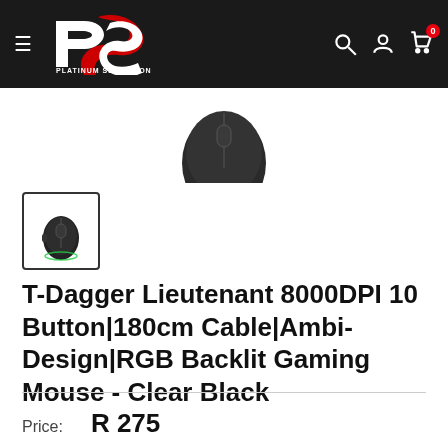[Figure (logo): Platinum Selection logo — white stylized PS letters with red swoosh, white text PLATINUM SELECTION below]
[Figure (photo): Top portion of a black gaming mouse visible at top of product image area]
[Figure (photo): Thumbnail image of T-Dagger gaming mouse, clear black, with RGB lighting, shown in a bordered box]
T-Dagger Lieutenant 8000DPI 10 Button|180cm Cable|Ambi-Design|RGB Backlit Gaming Mouse - Clear Black
Price:  R 275